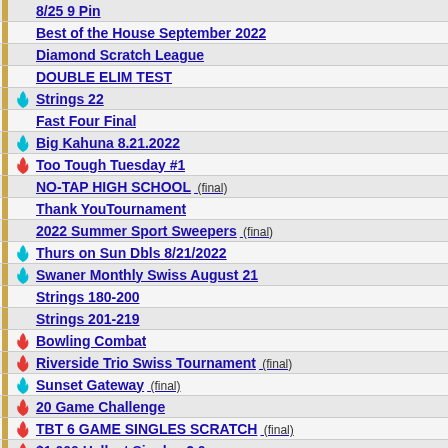8/25 9 Pin
Best of the House September 2022
Diamond Scratch League
DOUBLE ELIM TEST
Strings 22
Fast Four Final
Big Kahuna 8.21.2022
Too Tough Tuesday #1
NO-TAP HIGH SCHOOL (final)
Thank YouTournament
2022 Summer Sport Sweepers (final)
Thurs on Sun Dbls 8/21/2022
Swaner Monthly Swiss August 21
Strings 180-200
Strings 201-219
Bowling Combat
Riverside Trio Swiss Tournament (final)
Sunset Gateway (final)
20 Game Challenge
TBT 6 GAME SINGLES SCRATCH (final)
$1,000 Hellcat Singles 2.0
SINGLES - 9 Pin No Tap Tournament - AUG
NE Youth Open and U23 Tour, Stop 2 (Monticello)